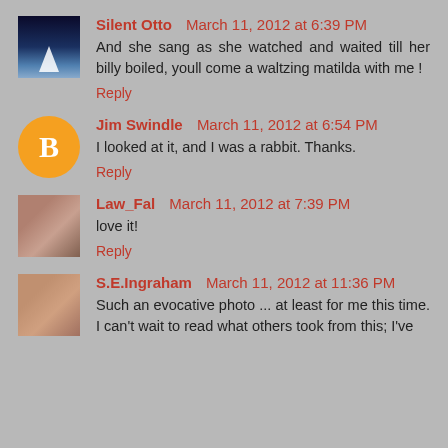Silent Otto   March 11, 2012 at 6:39 PM
And she sang as she watched and waited till her billy boiled, youll come a waltzing matilda with me !
Reply
Jim Swindle   March 11, 2012 at 6:54 PM
I looked at it, and I was a rabbit. Thanks.
Reply
Law_Fal   March 11, 2012 at 7:39 PM
love it!
Reply
S.E.Ingraham   March 11, 2012 at 11:36 PM
Such an evocative photo ... at least for me this time. I can't wait to read what others took from this; I've